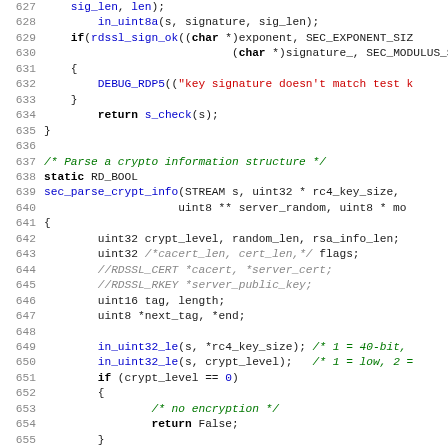[Figure (screenshot): Source code listing in C, lines 627-659, showing cryptographic parsing functions with syntax highlighting. Blue keywords, red string literals, gray comments, bold keywords.]